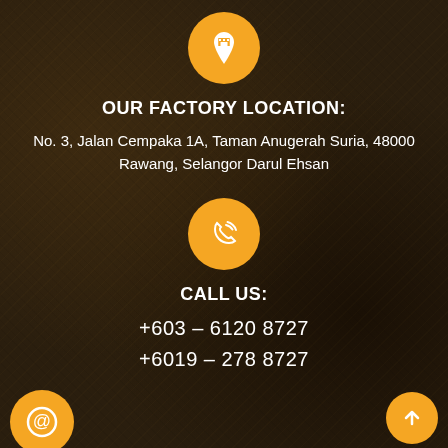[Figure (illustration): Orange circle with white factory/location pin icon]
OUR FACTORY LOCATION:
No. 3, Jalan Cempaka 1A, Taman Anugerah Suria, 48000 Rawang, Selangor Darul Ehsan
[Figure (illustration): Orange circle with white phone/call icon]
CALL US:
+603 - 6120 8727
+6019 - 278 8727
[Figure (illustration): Orange circle with white at/email icon (partially visible at bottom left)]
[Figure (illustration): Orange circle with white up arrow icon (bottom right)]